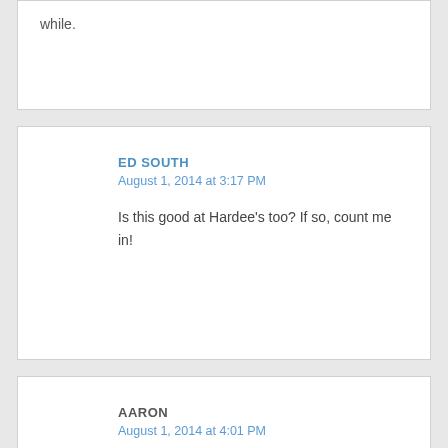while.
ED SOUTH
August 1, 2014 at 3:17 PM
Is this good at Hardee's too? If so, count me in!
AARON
August 1, 2014 at 4:01 PM
These burgers are awesome!